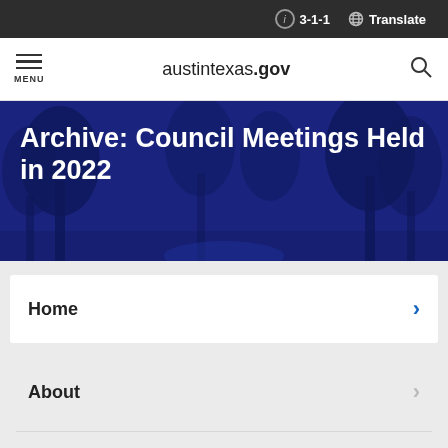ⓘ 3-1-1  🌐 Translate
MENU  austintexas.gov  [search]
Archive: Council Meetings Held in 2022
Home >
About >
Council Members